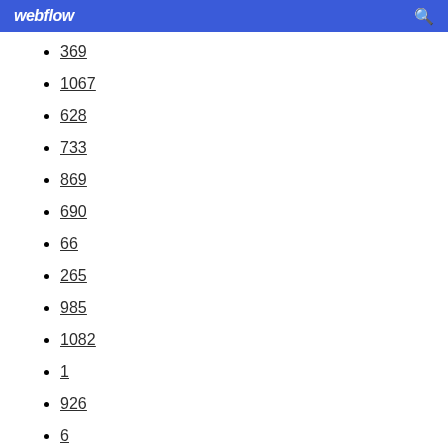webflow
369
1067
628
733
869
690
66
265
985
1082
1
926
6